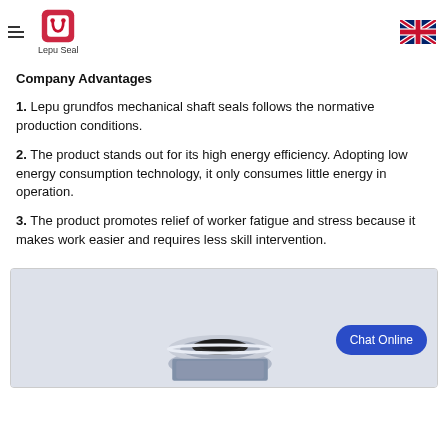Lepu Seal
Company Advantages
1. Lepu grundfos mechanical shaft seals follows the normative production conditions.
2. The product stands out for its high energy efficiency. Adopting low energy consumption technology, it only consumes little energy in operation.
3. The product promotes relief of worker fatigue and stress because it makes work easier and requires less skill intervention.
[Figure (photo): Photo of a mechanical shaft seal (Grundfos type) shown partially, with a blue 'Chat Online' button overlay on the right side.]